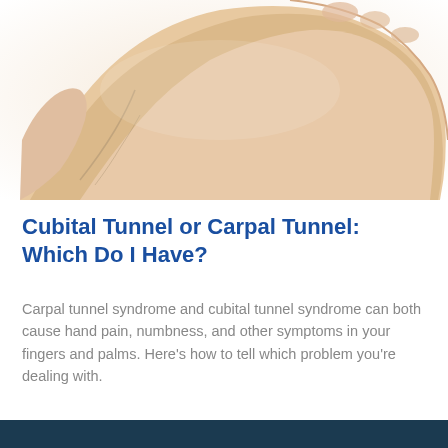[Figure (photo): Close-up photograph of a human hand and wrist, palm facing up, slightly extended fingers, on a white background. Veins visible on the wrist.]
Cubital Tunnel or Carpal Tunnel: Which Do I Have?
Carpal tunnel syndrome and cubital tunnel syndrome can both cause hand pain, numbness, and other symptoms in your fingers and palms. Here’s how to tell which problem you’re dealing with.